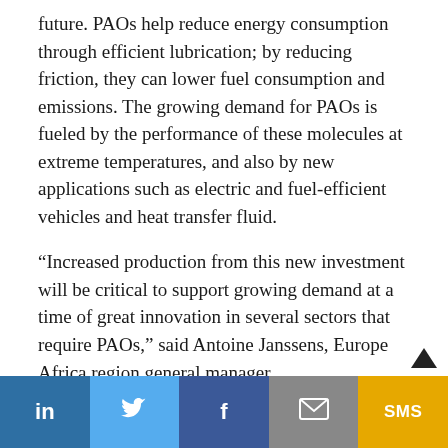future. PAOs help reduce energy consumption through efficient lubrication; by reducing friction, they can lower fuel consumption and emissions. The growing demand for PAOs is fueled by the performance of these molecules at extreme temperatures, and also by new applications such as electric and fuel-efficient vehicles and heat transfer fluid.
“Increased production from this new investment will be critical to support growing demand at a time of great innovation in several sectors that require PAOs,” said Antoine Janssens, Europe Africa region general manager.
Ideally located in the heart of Europe, the new PAO unit will enjoy significant advantages in infrastructure,
[Figure (infographic): Social sharing bar with five buttons: LinkedIn (dark blue), Twitter (light blue), Facebook (dark blue), Email (grey), SMS (gold/yellow)]